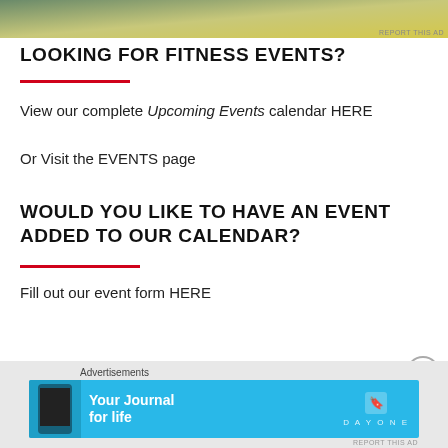[Figure (photo): Advertisement banner with gradient green-yellow background, cropped at top]
LOOKING FOR FITNESS EVENTS?
View our complete Upcoming Events calendar HERE
Or Visit the EVENTS page
WOULD YOU LIKE TO HAVE AN EVENT ADDED TO OUR CALENDAR?
Fill out our event form HERE
[Figure (photo): DayOne app advertisement banner - Your Journal for life, cyan/blue background with phone mockup]